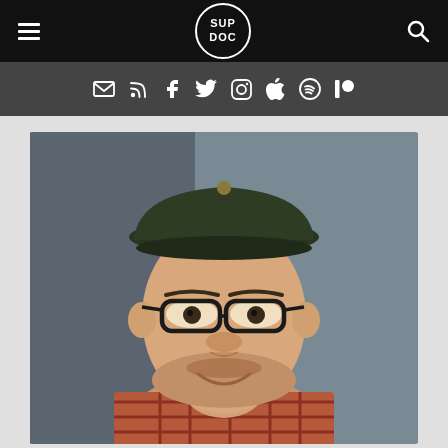SUP DOC navigation bar with hamburger menu, SUP DOC logo, and search icon
[Figure (infographic): Social media icon bar with email, RSS, Facebook, Twitter, Instagram, Apple, Spotify, and Patreon icons on dark gray background]
[Figure (photo): Portrait photo of a young man with a dark green baseball cap, thick-rimmed glasses, light beard, smiling slightly, wearing a plaid shirt, photographed against a gray background]